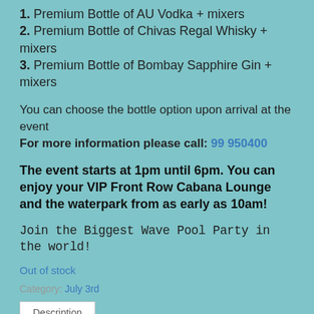1. Premium Bottle of AU Vodka + mixers
2. Premium Bottle of Chivas Regal Whisky + mixers
3. Premium Bottle of Bombay Sapphire Gin + mixers
You can choose the bottle option upon arrival at the event
For more information please call: 99 950400
The event starts at 1pm until 6pm. You can enjoy your VIP Front Row Cabana Lounge and the waterpark from as early as 10am!
Join the Biggest Wave Pool Party in the world!
Out of stock
Category: July 3rd
Description